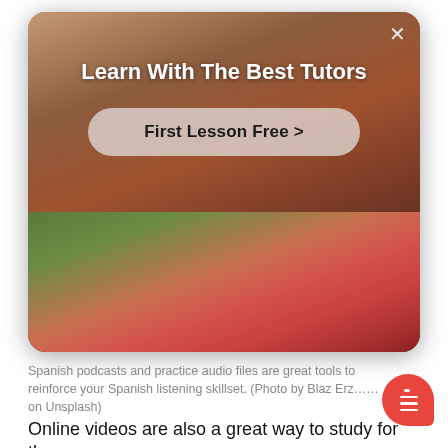[Figure (screenshot): Modal advertisement overlay showing 'Learn With The Best Tutors' heading with a 'First Lesson Free >' call-to-action button. Top half shows a warm-toned photo of a person indoors; bottom half shows a photo of a young woman in a pink jacket outdoors with earphones. An X close button appears in the top-right corner.]
Spanish podcasts and practice audio files are great tools to reinforce your Spanish listening skillset. (Photo by Blaz Erzeti on Unsplash)
Online videos are also a great way to study for the